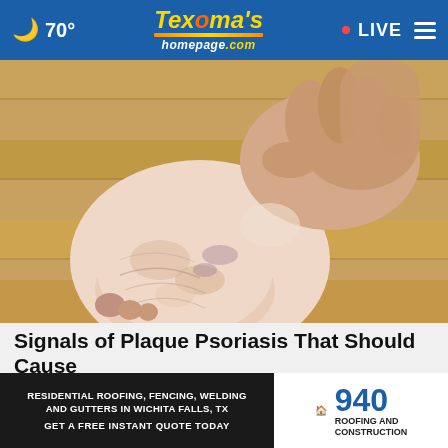🌙 70° | Texoma's homepage.com | LIVE
[Figure (photo): Close-up photo of a person's foot and ankle with dry, scaly, psoriatic skin, showing the sole of the foot being held up, on a wooden floor background.]
Signals of Plaque Psoriasis That Should Cause Concern (Take a Look)
Plaqu...
[Figure (other): Advertisement banner: RESIDENTIAL ROOFING, FENCING, WELDING AND GUTTERS IN WICHITA FALLS, TX. GET A FREE INSTANT QUOTE TODAY. 940 ROOFING AND CONSTRUCTION.]